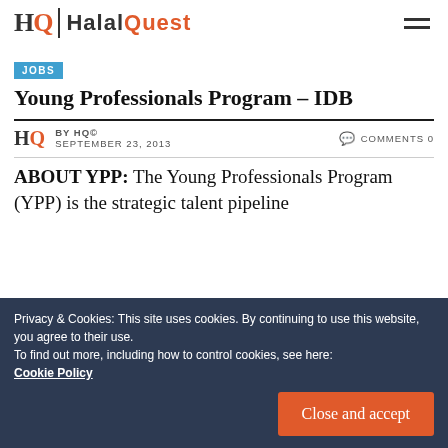HQ HalalQuest
JOBS
Young Professionals Program – IDB
BY HQ© SEPTEMBER 23, 2013   COMMENTS 0
ABOUT YPP: The Young Professionals Program (YPP) is the strategic talent pipeline
Privacy & Cookies: This site uses cookies. By continuing to use this website, you agree to their use.
To find out more, including how to control cookies, see here: Cookie Policy
Close and accept
graduates who can significantly help the IDB